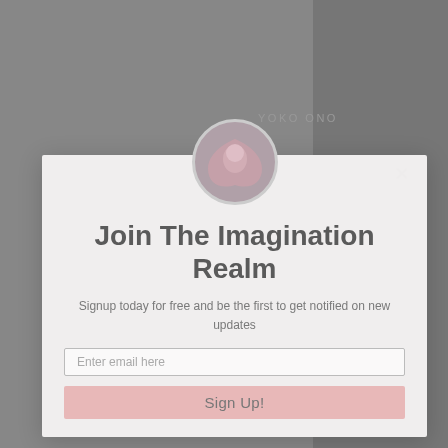[Figure (screenshot): Website page background showing Yoko Ono website header, dimmed/blurred behind modal overlay]
Join The Imagination Realm
Signup today for free and be the first to get notified on new updates
Enter email here
Sign Up!